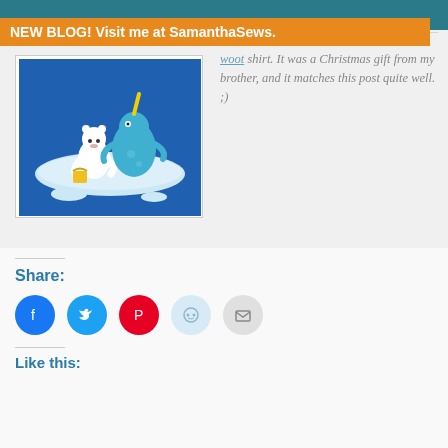NEW BLOG! Visit me at SamanthaSews.
[Figure (illustration): Cartoon illustration of a polar bear and a blue narwhal or dinosaur character on an ice floe, with a blue background and ocean/ice scenery. The polar bear is holding a yellow bucket.]
woot shirt. It was a Christmas gift from my brother, and it matches this post quite well. ;)
Share:
Like this: